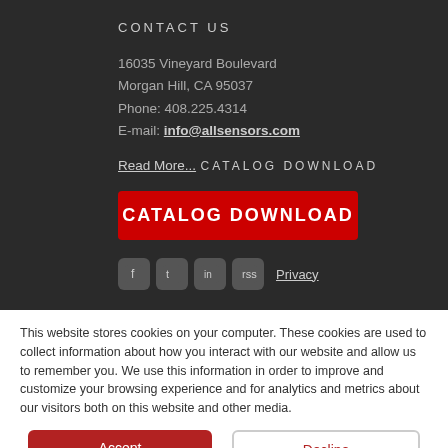CONTACT US
16035 Vineyard Boulevard
Morgan Hill, CA 95037
Phone: 408.225.4314
E-mail: info@allsensors.com
Read More...
CATALOG DOWNLOAD
CATALOG DOWNLOAD
[Figure (other): Social media icons (Facebook, Twitter, LinkedIn, RSS) and Privacy link]
This website stores cookies on your computer. These cookies are used to collect information about how you interact with our website and allow us to remember you. We use this information in order to improve and customize your browsing experience and for analytics and metrics about our visitors both on this website and other media.
Accept
Decline